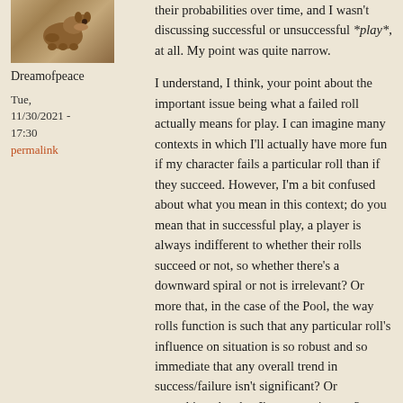[Figure (photo): Small avatar photo of a dog]
Dreamofpeace
Tue, 11/30/2021 - 17:30
permalink
their probabilities over time, and I wasn't discussing successful or unsuccessful *play*, at all. My point was quite narrow.

I understand, I think, your point about the important issue being what a failed roll actually means for play. I can imagine many contexts in which I'll actually have more fun if my character fails a particular roll than if they succeed. However, I'm a bit confused about what you mean in this context; do you mean that in successful play, a player is always indifferent to whether their rolls succeed or not, so whether there's a downward spiral or not is irrelevant? Or more that, in the case of the Pool, the way rolls function is such that any particular roll's influence on situation is so robust and so immediate that any overall trend in success/failure isn't significant? Or something else that I'm not getting yet?

Ok, as I was writing this reply I realized I